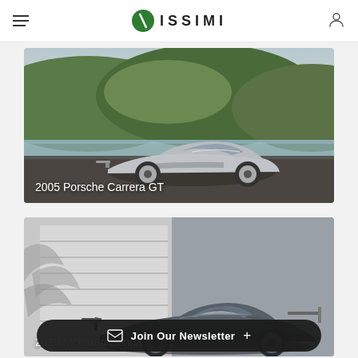ISSIMI
[Figure (photo): 2005 Porsche Carrera GT silver sports car parked on a road with green hills and a river in the background]
2005 Porsche Carrera GT
[Figure (photo): 2019 McLaren Senna dark supercar photographed in front of a white building/garage with dramatic shadows]
2019 McLaren Senna
Join Our Newsletter +